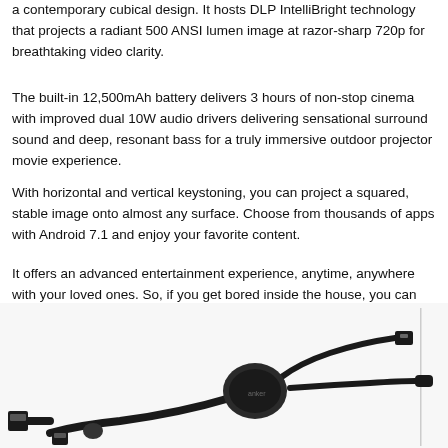a contemporary cubical design. It hosts DLP IntelliBright technology that projects a radiant 500 ANSI lumen image at razor-sharp 720p for breathtaking video clarity.
The built-in 12,500mAh battery delivers 3 hours of non-stop cinema with improved dual 10W audio drivers delivering sensational surround sound and deep, resonant bass for a truly immersive outdoor projector movie experience.
With horizontal and vertical keystoning, you can project a squared, stable image onto almost any surface. Choose from thousands of apps with Android 7.1 and enjoy your favorite content.
It offers an advanced entertainment experience, anytime, anywhere with your loved ones. So, if you get bored inside the house, you can always step out in the garden for an outdoor movie experience or learn new cooking styles in the kitchen. Available on Amazon.ae.
[Figure (photo): Photo of black USB multi-connector cables with Lightning, Micro-USB, and USB-C connectors on a white background]